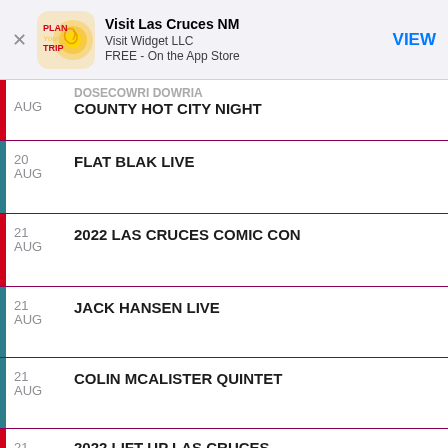[Figure (screenshot): App Store smart banner for 'Visit Las Cruces NM' by Visit Widget LLC, FREE on the App Store, with a VIEW button]
AUG — DOSECOWRI DOWRIA COUNTY HOT CITY NIGHT
20 AUG — FLAT BLAK LIVE
21 AUG — 2022 LAS CRUCES COMIC CON
21 AUG — JACK HANSEN LIVE
21 AUG — COLIN MCALISTER QUINTET
21 — 2022 LIFT UP LAS CRUCES